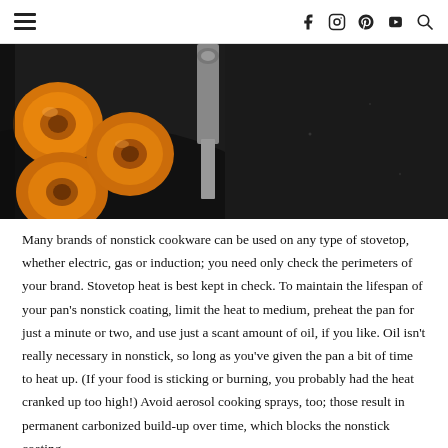Navigation header with hamburger menu and social icons (Facebook, Instagram, Pinterest, YouTube, Search)
[Figure (photo): Overhead shot of caramelized apricot halves in a dark cast iron skillet, with a silver pan handle visible against a dark background]
Many brands of nonstick cookware can be used on any type of stovetop, whether electric, gas or induction; you need only check the perimeters of your brand. Stovetop heat is best kept in check. To maintain the lifespan of your pan's nonstick coating, limit the heat to medium, preheat the pan for just a minute or two, and use just a scant amount of oil, if you like. Oil isn't really necessary in nonstick, so long as you've given the pan a bit of time to heat up. (If your food is sticking or burning, you probably had the heat cranked up too high!) Avoid aerosol cooking sprays, too; those result in permanent carbonized build-up over time, which blocks the nonstick coating